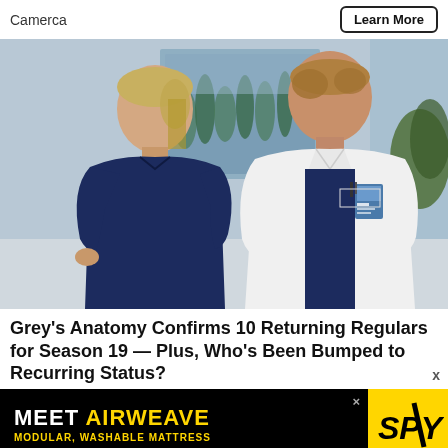Camerca | Learn More
[Figure (photo): Two TV show actors: a woman in navy blue scrubs on the left, a man in a white doctor's coat and navy scrubs on the right, standing in a hospital setting]
Grey's Anatomy Confirms 10 Returning Regulars for Season 19 — Plus, Who's Been Bumped to Recurring Status?
[Figure (other): Advertisement banner: MEET AIRWEAVE MODULAR, WASHABLE MATTRESS with SPY logo on yellow background]